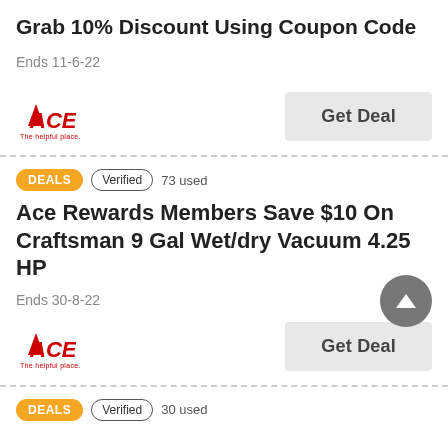Grab 10% Discount Using Coupon Code
Ends 11-6-22
Get Deal
DEALS   Verified   73 used
Ace Rewards Members Save $10 On Craftsman 9 Gal Wet/dry Vacuum 4.25 HP
Ends 30-8-22
Get Deal
DEALS   Verified